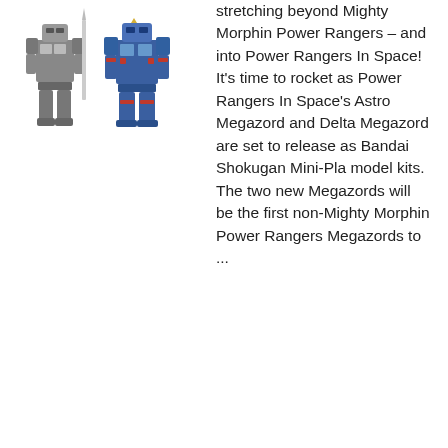[Figure (photo): Two robot/Megazord figures — one gray/black and one blue with red accents — standing side by side, appearing to be toy model kits.]
stretching beyond Mighty Morphin Power Rangers – and into Power Rangers In Space! It's time to rocket as Power Rangers In Space's Astro Megazord and Delta Megazord are set to release as Bandai Shokugan Mini-Pla model kits. The two new Megazords will be the first non-Mighty Morphin Power Rangers Megazords to ...